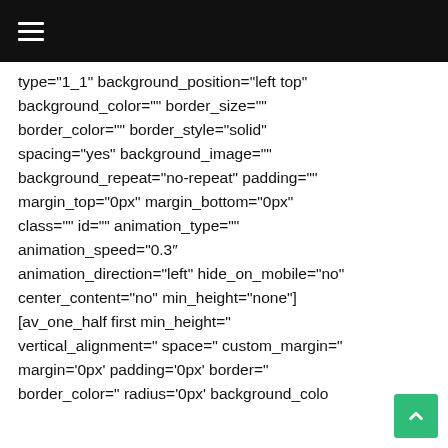☰
type="1_1" background_position="left top" background_color="" border_size="" border_color="" border_style="solid" spacing="yes" background_image="" background_repeat="no-repeat" padding="" margin_top="0px" margin_bottom="0px" class="" id="" animation_type="" animation_speed="0.3″ animation_direction="left" hide_on_mobile="no" center_content="no" min_height="none"] [av_one_half first min_height=" vertical_alignment=" space=" custom_margin=" margin='0px' padding='0px' border=" border_color=" radius='0px' background_color